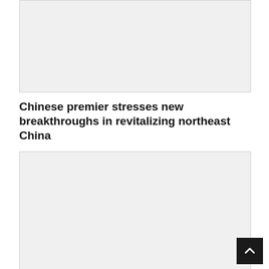[Figure (photo): Gray placeholder image block at top of page]
Chinese premier stresses new breakthroughs in revitalizing northeast China
[Figure (photo): Gray placeholder image block at bottom of page]